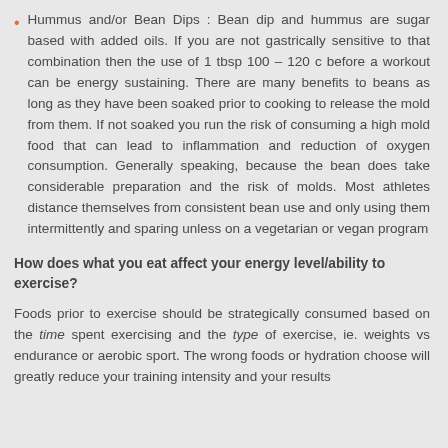Hummus and/or Bean Dips : Bean dip and hummus are sugar based with added oils. If you are not gastrically sensitive to that combination then the use of 1 tbsp 100 – 120 c before a workout can be energy sustaining. There are many benefits to beans as long as they have been soaked prior to cooking to release the mold from them. If not soaked you run the risk of consuming a high mold food that can lead to inflammation and reduction of oxygen consumption. Generally speaking, because the bean does take considerable preparation and the risk of molds. Most athletes distance themselves from consistent bean use and only using them intermittently and sparing unless on a vegetarian or vegan program
How does what you eat affect your energy level/ability to exercise?
Foods prior to exercise should be strategically consumed based on the time spent exercising and the type of exercise, ie. weights vs endurance or aerobic sport. The wrong foods or hydration choose will greatly reduce your training intensity and your results